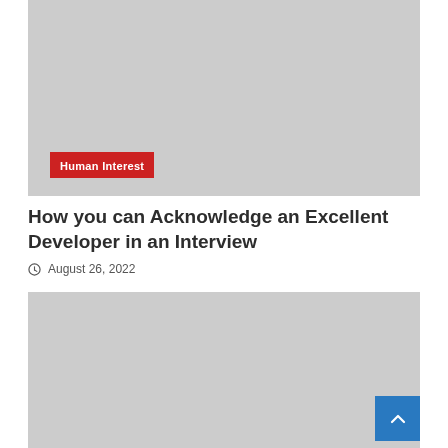[Figure (photo): Gray placeholder image at top of article card]
Human Interest
How you can Acknowledge an Excellent Developer in an Interview
August 26, 2022
[Figure (photo): Gray placeholder image below article title]